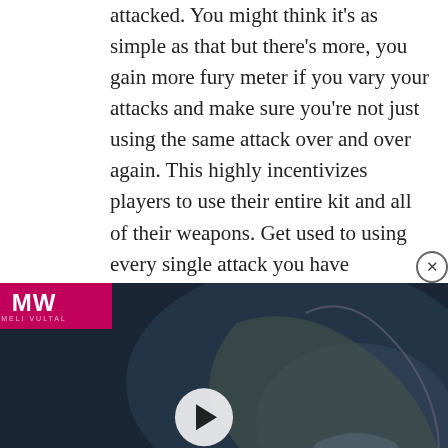attacked. You might think it’s as simple as that but there’s more, you gain more fury meter if you vary your attacks and make sure you’re not just using the same attack over and over again. This highly incentivizes players to use their entire kit and all of their weapons. Get used to using every single attack you have available and you’ll find yourself getting fury so often that you may even get it up to 3 times in the same boss fight!
Curses
Throughout your r... quite a bit, both ra... you defeat. Each ti... the ability to choos... 3+ different Curses. Curses are passive buffs to your character that persist until you die or
[Figure (screenshot): Video ad overlay showing MW (Meli Vultal) logo with dragon game imagery and text BEST DRAGON GAMES with a play button]